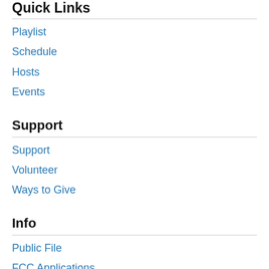Quick Links
Playlist
Schedule
Hosts
Events
Support
Support
Volunteer
Ways to Give
Info
Public File
FCC Applications